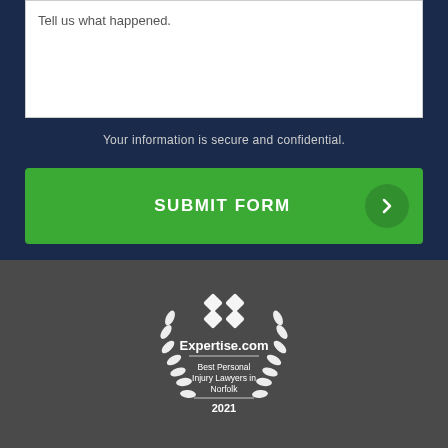Tell us what happened.
Your information is secure and confidential.
SUBMIT FORM
[Figure (logo): Expertise.com badge — Best Personal Injury Lawyers in Norfolk 2021, white on dark background with laurel wreath and diamond logo]